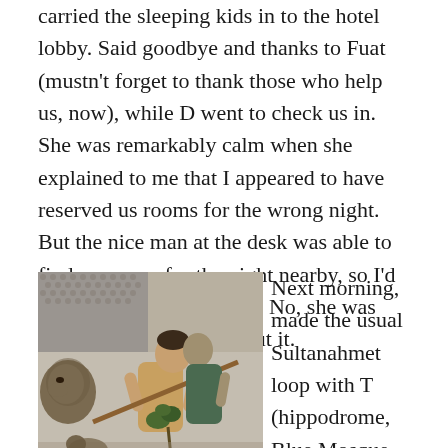carried the sleeping kids in to the hotel lobby. Said goodbye and thanks to Fuat (mustn't forget to thank those who help us, now), while D went to check us in. She was remarkably calm when she explained to me that I appeared to have reserved us rooms for the wrong night. But the nice man at the desk was able to find us rooms for the night nearby, so I'd live to see daylight again. No, she was really quite gracious about it.
[Figure (photo): Ancient mosaic or fresco depicting a scene with a human figure holding a pole or spear, and animals (possibly a lion and other creatures) on a textured stone or tile background.]
Next morning, made the usual Sultanahmet loop with T (hippodrome, Blue Mosque, bazaar) and managed to add a few new sights: the hidden mosaic